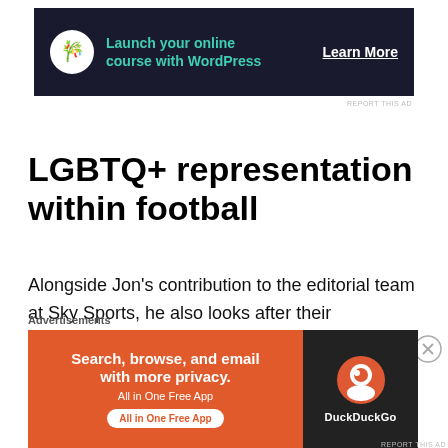[Figure (infographic): Dark banner advertisement: bonsai tree icon in white circle, teal text 'Launch your online course with WordPress', white 'Learn More' CTA link on dark navy background]
LGBTQ+ representation within football
Alongside Jon's contribution to the editorial team at Sky Sports, he also looks after their relationship with Stonewall for their 'Rainbow Laces' campaign that battles homophobia within football. This is a very important campaign within the sport due to the lack of male LGBTQ+ representation at a professional
Advertisements
[Figure (infographic): Bottom advertisement banner: left orange section with white bold text 'Search, browse, and email with more privacy.' and 'All in One Free App' pill button; right dark section with DuckDuckGo logo and text]